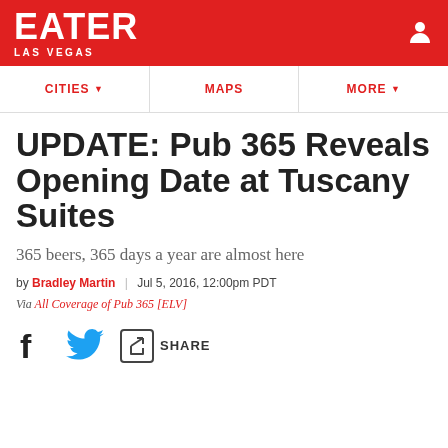EATER LAS VEGAS
CITIES | MAPS | MORE
UPDATE: Pub 365 Reveals Opening Date at Tuscany Suites
365 beers, 365 days a year are almost here
by Bradley Martin | Jul 5, 2016, 12:00pm PDT
Via All Coverage of Pub 365 [ELV]
SHARE